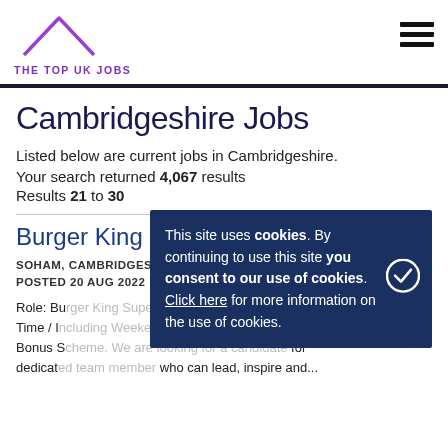[Figure (logo): The Top UK Jobs logo with purple chevron/roof shape above text]
THE TOP UK JOBS
Cambridgeshire Jobs
Listed below are current jobs in Cambridgeshire.
Your search returned 4,067 results
Results 21 to 30
Burger King Supervisor
SOHAM, CAMBRIDGESHIRE | £10.55 PER HOUR | PERMANENT | POSTED 20 AUG 2022
Role: Bu... Part Time / In... £10.55 Bonus S... for dedicate... who can lead, inspire and...
This site uses cookies. By continuing to use this site you consent to our use of cookies. Click here for more information on the use of cookies.